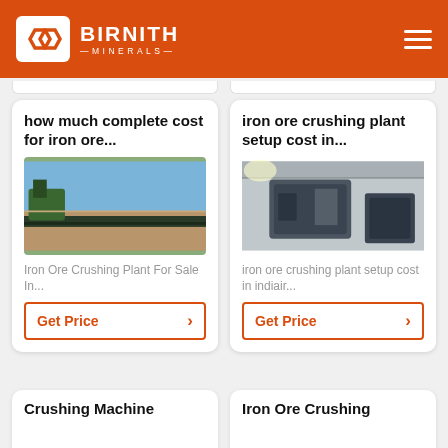BIRNITH MINERALS
how much complete cost for iron ore...
[Figure (photo): Iron ore crushing plant / conveyor belt machinery outdoors with blue sky]
Iron Ore Crushing Plant For Sale In...
Get Price
iron ore crushing plant setup cost in...
[Figure (photo): Iron ore crushing machinery inside industrial warehouse]
iron ore crushing plant setup cost in indiair...
Get Price
Crushing Machine
Iron Ore Crushing